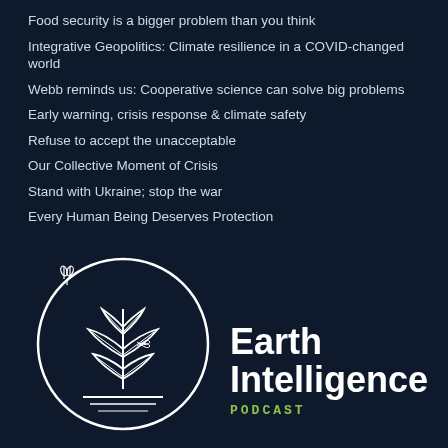Food security is a bigger problem than you think
Integrative Geopolitics: Climate resilience in a COVID-changed world
Webb reminds us: Cooperative science can solve big problems
Early warning, crisis response & climate safety
Refuse to accept the unacceptable
Our Collective Moment of Crisis
Stand with Ukraine; stop the war
Every Human Being Deserves Protection
[Figure (logo): Earth Intelligence Podcast logo: a circular emblem containing a stylized plant/seedling with leaves above a horizontal ground line, with a small butterfly and decorative element, surrounded by a white circle outline on dark navy background]
Earth Intelligence PODCAST